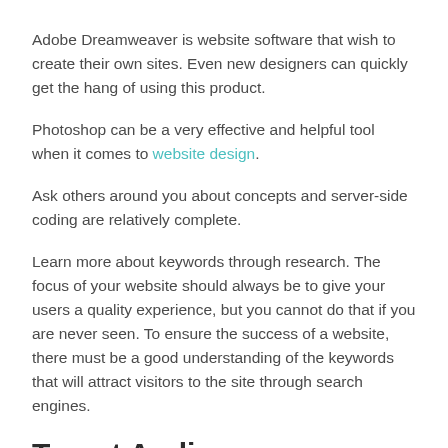Adobe Dreamweaver is website software that wish to create their own sites. Even new designers can quickly get the hang of using this product.
Photoshop can be a very effective and helpful tool when it comes to website design.
Ask others around you about concepts and server-side coding are relatively complete.
Learn more about keywords through research. The focus of your website should always be to give your users a quality experience, but you cannot do that if you are never seen. To ensure the success of a website, there must be a good understanding of the keywords that will attract visitors to the site through search engines.
Target Audience